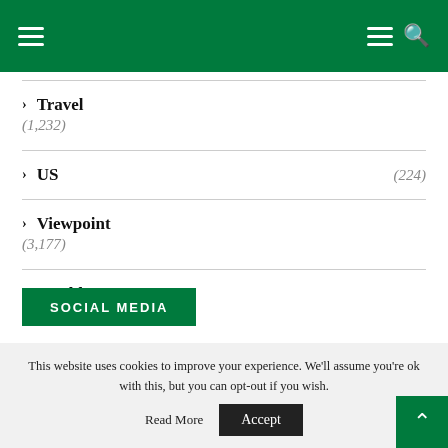Navigation menu header bar with hamburger and search icons
> Travel (1,232)
> US (224)
> Viewpoint (3,177)
> World (2,969)
SOCIAL MEDIA
This website uses cookies to improve your experience. We'll assume you're ok with this, but you can opt-out if you wish.
Accept
Read More